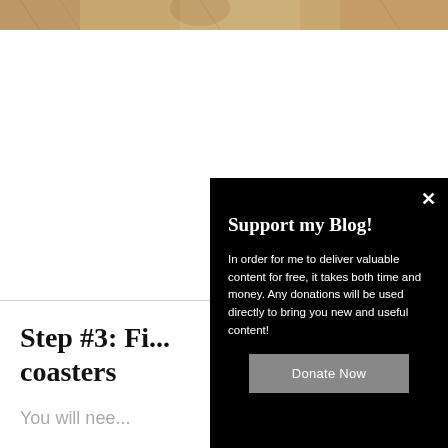[Figure (photo): Top strip of a decorative image, showing warm golden/brown tones, partially cropped]
Step #3: Fi... coasters
You will nee...
[Figure (infographic): Modal popup with black background on the right side of the page containing 'Support my Blog!' heading, descriptive text, and a Donate Now button]
Support my Blog!
In order for me to deliver valuable content for free, it takes both time and money. Any donations will be used directly to bring you new and useful content!